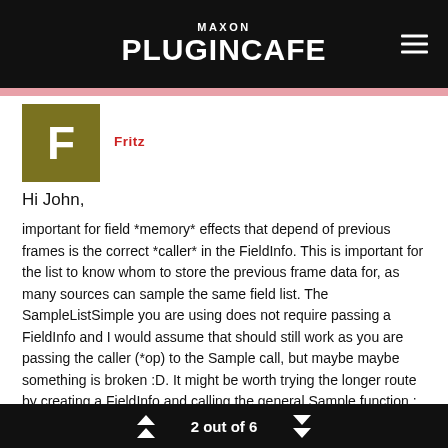MAXON PLUGINCAFE
[Figure (logo): User avatar: dark olive/yellow square with white letter F]
Fritz
Hi John,
important for field *memory* effects that depend of previous frames is the correct *caller* in the FieldInfo. This is important for the list to know whom to store the previous frame data for, as many sources can sample the same field list. The SampleListSimple you are using does not require passing a FieldInfo and I would assume that should still work as you are passing the caller (*op) to the Sample call, but maybe maybe something is broken :D. It might be worth trying the longer route by creating a FieldInfo and calling the general Sample function.: maxon::Result< void > SampleList (const FieldInfo &info
2 out of 6